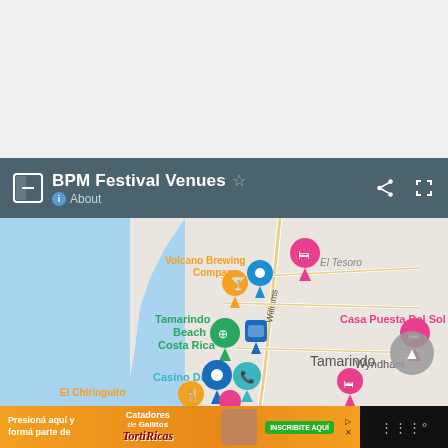[Figure (screenshot): White/light gray empty space at the top of a mobile screenshot]
BPM Festival Venues  About
[Figure (map): Google Maps screenshot showing Tamarindo, Costa Rica area with venue pins labeled: Volcano Brewing Company (orange pin), Tamarindo Beach Costa Rica (green pin), Casino Diriá (teal pin), Casa Puesta Del Sol (pink pin), Wyndham (pink pin), El Chiringuito (orange pin), and several other map pins. Street label 'Williams' and area label 'Tamarindo' visible. 'El Tesoro' label in upper right.]
[Figure (screenshot): Advertisement bar at bottom: orange ad for 'Catadores de Gallitos TortiRicas' with text 'Presioná aquí y formá parte de' and green 'INSCRIBITE AQUÍ' button. Right side is dark with triple-bar icon.]